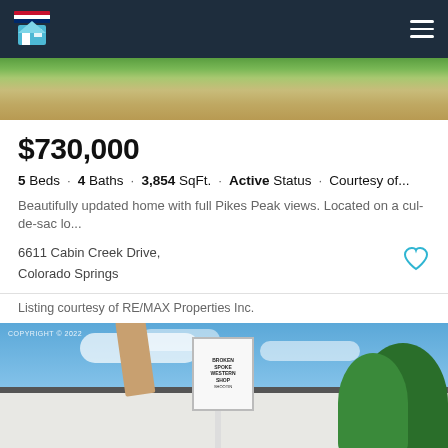Navigation bar with logo and hamburger menu
[Figure (photo): Top of property exterior photo showing driveway, green grass strip, and concrete]
$730,000
5 Beds · 4 Baths · 3,854 SqFt. · Active Status · Courtesy of...
Beautifully updated home with full Pikes Peak views. Located on a cul-de-sac lo...
6611 Cabin Creek Drive,
Colorado Springs
Listing courtesy of RE/MAX Properties Inc.
[Figure (photo): Photo of a building with a large hand sculpture on the roof pointing upward, and a sign reading 'BROKEN SPOKE WESTERN SHOP'. Blue sky with scattered clouds and trees on the right.]